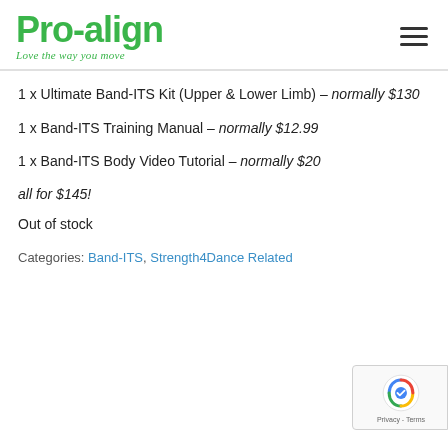Pro-align — Love the way you move
1 x Ultimate Band-ITS Kit (Upper & Lower Limb) – normally $130
1 x Band-ITS Training Manual – normally $12.99
1 x Band-ITS Body Video Tutorial – normally $20
all for $145!
Out of stock
Categories: Band-ITS, Strength4Dance Related